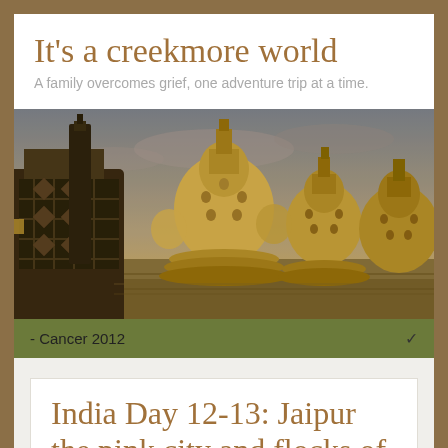It's a creekmore world
A family overcomes grief, one adventure trip at a time.
[Figure (photo): Panoramic photo of Borobudur temple stupas at golden hour, showing multiple bell-shaped stone stupas with diamond lattice patterns on a terrace, with trees and cloudy sky in background]
- Cancer 2012
India Day 12-13: Jaipur the pink city and flocks of